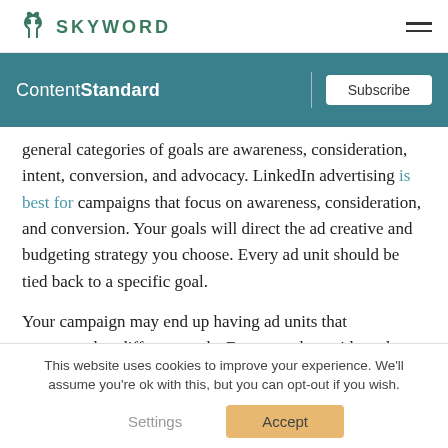SKYWORD
ContentStandard | Subscribe
general categories of goals are awareness, consideration, intent, conversion, and advocacy. LinkedIn advertising is best for campaigns that focus on awareness, consideration, and conversion. Your goals will direct the ad creative and budgeting strategy you choose. Every ad unit should be tied back to a specific goal.
Your campaign may end up having ad units that correspond to different goals. For example, a video ad
This website uses cookies to improve your experience. We'll assume you're ok with this, but you can opt-out if you wish.